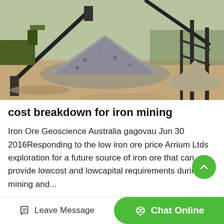[Figure (photo): Outdoor mining site with heavy machinery, conveyor belts, and a large pile of crushed rock/gravel on a sandy ground.]
cost breakdown for iron mining
Iron Ore Geoscience Australia gagovau Jun 30 2016Responding to the low iron ore price Arrium Ltds exploration for a future source of iron ore that can provide lowcost and lowcapital requirements during mining and...